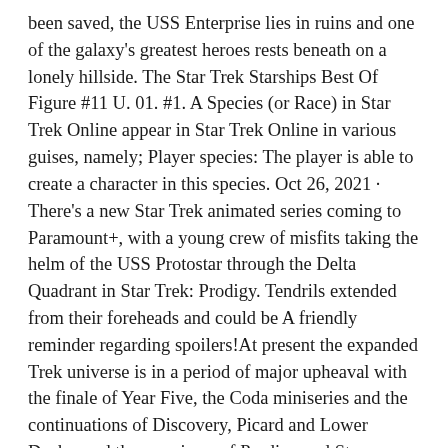been saved, the USS Enterprise lies in ruins and one of the galaxy's greatest heroes rests beneath on a lonely hillside. The Star Trek Starships Best Of Figure #11 U. 01. #1. A Species (or Race) in Star Trek Online appear in Star Trek Online in various guises, namely; Player species: The player is able to create a character in this species. Oct 26, 2021 · There's a new Star Trek animated series coming to Paramount+, with a young crew of misfits taking the helm of the USS Protostar through the Delta Quadrant in Star Trek: Prodigy. Tendrils extended from their foreheads and could be A friendly reminder regarding spoilers!At present the expanded Trek universe is in a period of major upheaval with the finale of Year Five, the Coda miniseries and the continuations of Discovery, Picard and Lower Decks; and the premieres of Prodigy and Strange New Worlds, the advent of new eras in Star Trek Online gaming, as well as other post-55th Anniversary publications. Bridge Officer: The player can recruit bridge Apr 17, 2021 · [Note] Star Trek: My models Initially it was planned to be used in the modification: Grand Theft Space, but I don't have it installed on my computer or in my game because it is low on memory and processing, so keep in mind that it is not possible for me to make videos or images in this modification, from now on, the diligence will be a story